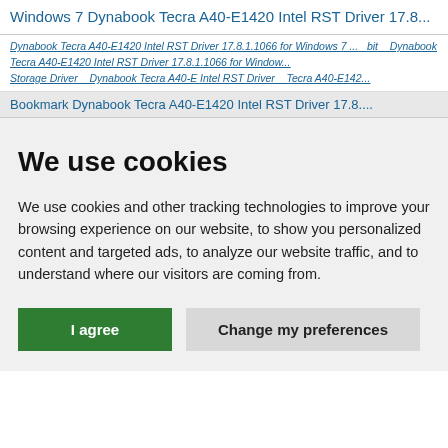Windows 7 Dynabook Tecra A40-E1420 Intel RST Driver 17.8...
Dynabook Tecra A40-E1420 Intel RST Driver 17.8.1.1066 for Windows 7 ...bit  Dynabook Tecra A40-E1420 Intel RST Driver 17.8.1.1066 for Window... Storage Driver  Dynabook Tecra A40-E Intel RST Driver  Tecra A40-E142...
Bookmark Dynabook Tecra A40-E1420 Intel RST Driver 17.8....
We use cookies
We use cookies and other tracking technologies to improve your browsing experience on our website, to show you personalized content and targeted ads, to analyze our website traffic, and to understand where our visitors are coming from.
I agree  Change my preferences